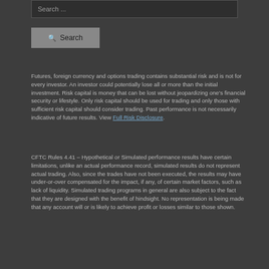Search ...
Search
Futures, foreign currency and options trading contains substantial risk and is not for every investor. An investor could potentially lose all or more than the initial investment. Risk capital is money that can be lost without jeopardizing one's financial security or lifestyle. Only risk capital should be used for trading and only those with sufficient risk capital should consider trading. Past performance is not necessarily indicative of future results. View Full Risk Disclosure.
CFTC Rules 4.41 – Hypothetical or Simulated performance results have certain limitations, unlike an actual performance record, simulated results do not represent actual trading. Also, since the trades have not been executed, the results may have under-or-over compensated for the impact, if any, of certain market factors, such as lack of liquidity. Simulated trading programs in general are also subject to the fact that they are designed with the benefit of hindsight. No representation is being made that any account will or is likely to achieve profit or losses similar to those shown.